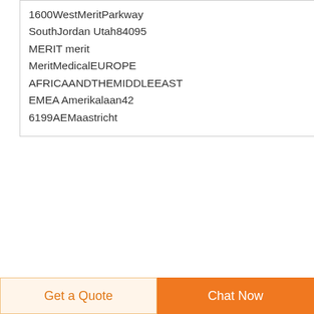1600WestMeritParkway SouthJordan Utah84095 MERIT merit MeritMedicalEUROPE AFRICAANDTHEMIDDLEEAST EMEA Amerikalaan42 6199AEMaastricht
[Figure (photo): Product image of a valve/medical device on blue background]
Mt HNo 1 Valve manufacturer in Korea
Mt H has abundant experience and various achievements of safety relief valves and control valves for protection and safety in industrial plant.
[Figure (illustration): Dark blue circular scroll-to-top button with white upward arrow]
Get a Quote   Chat Now